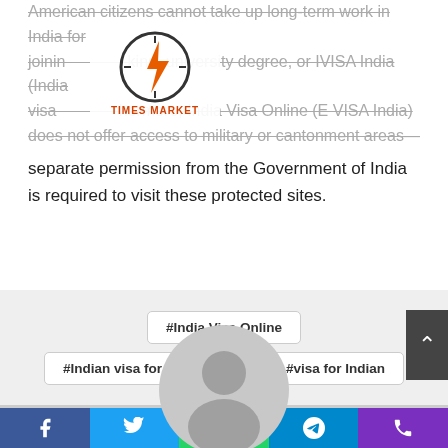American citizens cannot take up long-term work in India for joining university degree, or IVISA India (India visa). Furthermore, India Visa Online (E VISA India) does not offer access to military or cantonment areas—separate permission from the Government of India is required to visit these protected sites.
[Figure (logo): Times Market logo with lightning bolt icon in circle and red text TIMES MARKET]
#India Visa Online
#Indian visa for US citizens
#visa for Indian
[Figure (photo): Default user avatar placeholder, gray silhouette of a person in a circle]
[Figure (other): Social media share buttons: Facebook, Twitter, WhatsApp, Telegram, Phone]